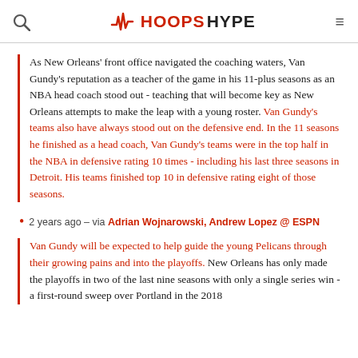HOOPSHYPE
As New Orleans' front office navigated the coaching waters, Van Gundy's reputation as a teacher of the game in his 11-plus seasons as an NBA head coach stood out - teaching that will become key as New Orleans attempts to make the leap with a young roster. Van Gundy's teams also have always stood out on the defensive end. In the 11 seasons he finished as a head coach, Van Gundy's teams were in the top half in the NBA in defensive rating 10 times - including his last three seasons in Detroit. His teams finished top 10 in defensive rating eight of those seasons.
2 years ago – via Adrian Wojnarowski, Andrew Lopez @ ESPN
Van Gundy will be expected to help guide the young Pelicans through their growing pains and into the playoffs. New Orleans has only made the playoffs in two of the last nine seasons with only a single series win - a first-round sweep over Portland in the 2018